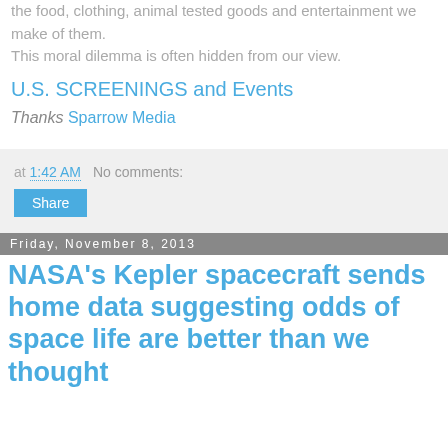the food, clothing, animal tested goods and entertainment we make of them.
This moral dilemma is often hidden from our view.
U.S. SCREENINGS and Events
Thanks Sparrow Media
at 1:42 AM   No comments:
Share
Friday, November 8, 2013
NASA's Kepler spacecraft sends home data suggesting odds of space life are better than we thought